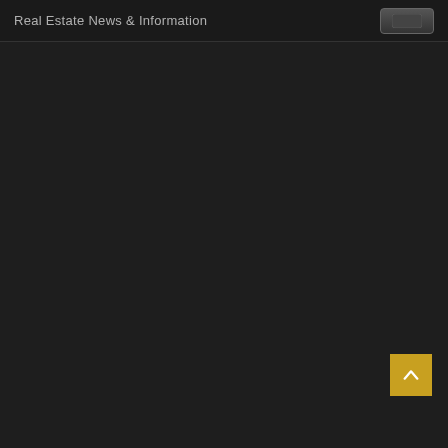Real Estate News & Information
[Figure (other): Dark background main content area, mostly empty]
[Figure (other): Gold/yellow scroll-to-top button with upward chevron arrow in bottom right corner]